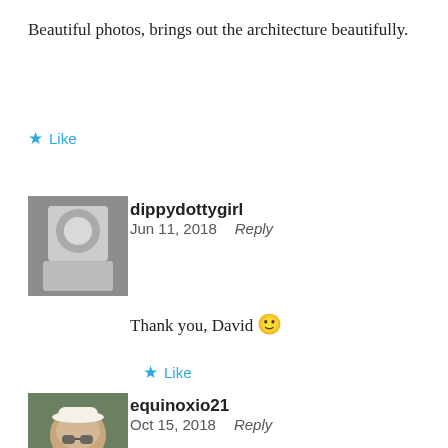Beautiful photos, brings out the architecture beautifully.
★ Like
dippydottygirl
Jun 11, 2018   Reply
Thank you, David 🙂
★ Like
equinoxio21
Oct 15, 2018   Reply